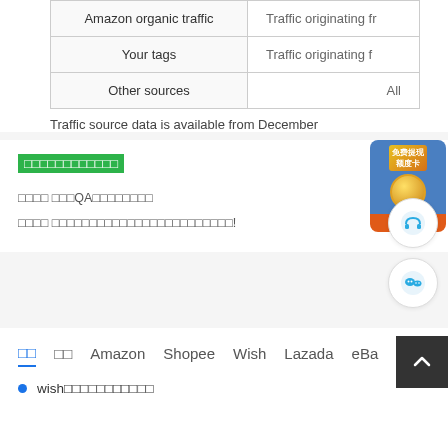|  |  |
| --- | --- |
| Amazon organic traffic | Traffic originating fr... |
| Your tags | Traffic originating f... |
| Other sources | All ... |
Traffic source data is available from December...
□□□□□□□□□□□□ (green highlighted text)
□□□□ □□□QA□□□□□□□□
□□□□ □□□□□□□□□□□□□□□□□□□□□□□□!
[Figure (illustration): Promotional widget with Chinese text, coin graphic, and orange button]
[Figure (illustration): Headset customer service icon in circle]
[Figure (illustration): WeChat icon in circle]
□□  □□  Amazon  Shopee  Wish  Lazada  eBa...
wish□□□□□□□□□□□